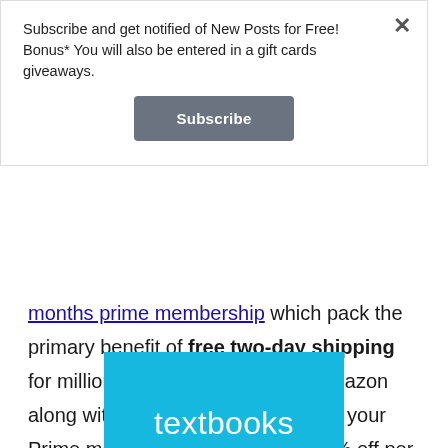Subscribe and get notified of New Posts for Free! Bonus* You will also be entered in a gift cards giveaways.
[Figure (other): Subscribe button — dark gray rounded rectangle with white bold text 'Subscribe']
months prime membership which pack the primary benefit of free two-day shipping for millions of items available on amazon along with other benefits. After that, your Prime membership will still cost 50% off per year for as long as you are a student.
[Figure (other): Blue rectangle with white lowercase text 'textbooks' partially visible at the bottom]